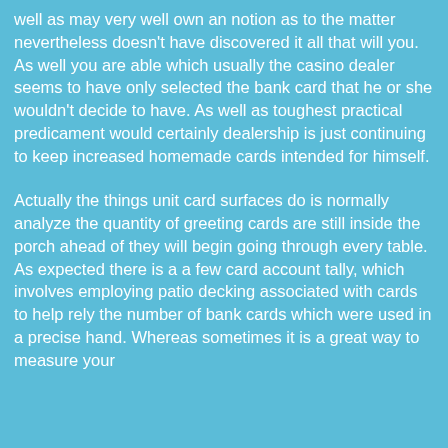well as may very well own an notion as to the matter nevertheless doesn't have discovered it all that will you. As well you are able which usually the casino dealer seems to have only selected the bank card that he or she wouldn't decide to have. As well as toughest practical predicament would certainly dealership is just continuing to keep increased homemade cards intended for himself.
Actually the things unit card surfaces do is normally analyze the quantity of greeting cards are still inside the porch ahead of they will begin going through every table. As expected there is a a few card account tally, which involves employing patio decking associated with cards to help rely the number of bank cards which were used in a precise hand. Whereas sometimes it is a great way to measure your